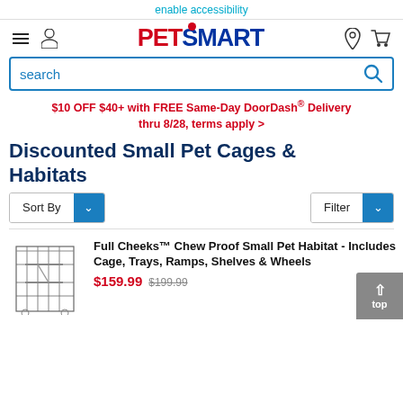enable accessibility
[Figure (logo): PetSmart logo with hamburger menu, user icon, location icon, and cart icon]
search
$10 OFF $40+ with FREE Same-Day DoorDash® Delivery thru 8/28, terms apply >
Discounted Small Pet Cages & Habitats
Sort By
Filter
Full Cheeks™ Chew Proof Small Pet Habitat - Includes Cage, Trays, Ramps, Shelves & Wheels
$159.99  $199.99